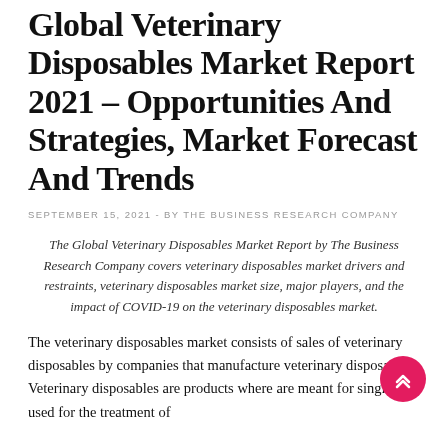Global Veterinary Disposables Market Report 2021 – Opportunities And Strategies, Market Forecast And Trends
SEPTEMBER 15, 2021 - BY THE BUSINESS RESEARCH COMPANY
The Global Veterinary Disposables Market Report by The Business Research Company covers veterinary disposables market drivers and restraints, veterinary disposables market size, major players, and the impact of COVID-19 on the veterinary disposables market.
The veterinary disposables market consists of sales of veterinary disposables by companies that manufacture veterinary disposables. Veterinary disposables are products where are meant for single-use, used for the treatment of